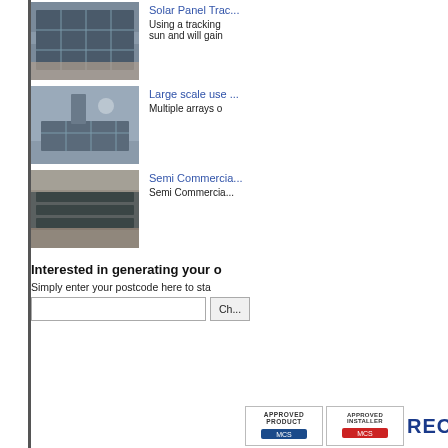[Figure (photo): Solar panels on a rooftop, angled tracking array]
Solar Panel Trac...
Using a tracking sun and will gain
[Figure (photo): Large scale rooftop solar panel array]
Large scale use
Multiple arrays o
[Figure (photo): Semi commercial rooftop solar panels]
Semi Commercia...
Semi Commercia...
Interested in generating your o
Simply enter your postcode here to sta
[Figure (logo): APPROVED PRODUCT badge]
[Figure (logo): APPROVED INSTALLER badge]
[Figure (logo): RECC logo with checkmark]